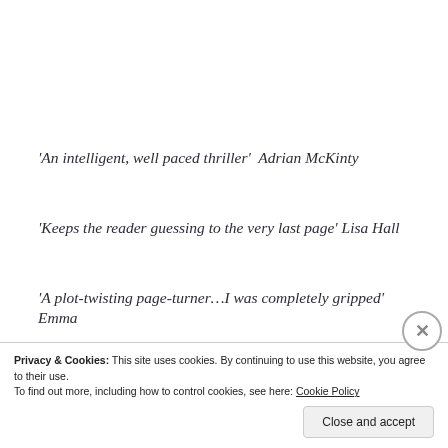‘An intelligent, well paced thriller’  Adrian McKinty
‘Keeps the reader guessing to the very last page’ Lisa Hall
‘A plot-twisting page-turner…I was completely gripped’ Emma
Short-listed for the 2016 Davitt awards
One of BuzzFeeds top 19 Australian books for 2015
Privacy & Cookies: This site uses cookies. By continuing to use this website, you agree to their use.
To find out more, including how to control cookies, see here: Cookie Policy
Close and accept